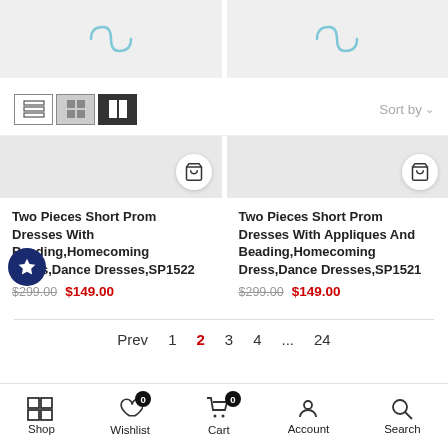[Figure (screenshot): Two product image placeholder cards side by side with infinity loading icons]
[Figure (screenshot): Toolbar with list/grid view icons and Sort by dropdown]
[Figure (screenshot): Two product image cards with cart buttons, partially visible]
Two Pieces Short Prom Dresses With Beading,Homecoming Dress,Dance Dresses,SP1522
$299.00  $149.00
Two Pieces Short Prom Dresses With Appliques And Beading,Homecoming Dress,Dance Dresses,SP1521
$299.00  $149.00
Prev  1  2  3  4  ...  24
[Figure (screenshot): Bottom navigation bar with Shop, Wishlist, Cart, Account, Search icons]